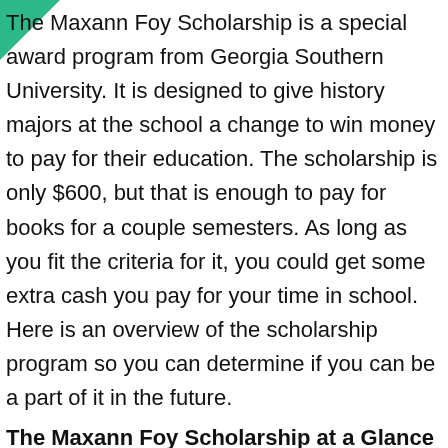The Maxann Foy Scholarship is a special award program from Georgia Southern University. It is designed to give history majors at the school a change to win money to pay for their education. The scholarship is only $600, but that is enough to pay for books for a couple semesters. As long as you fit the criteria for it, you could get some extra cash you pay for your time in school. Here is an overview of the scholarship program so you can determine if you can be a part of it in the future.
The Maxann Foy Scholarship at a Glance
Award Amount: $600